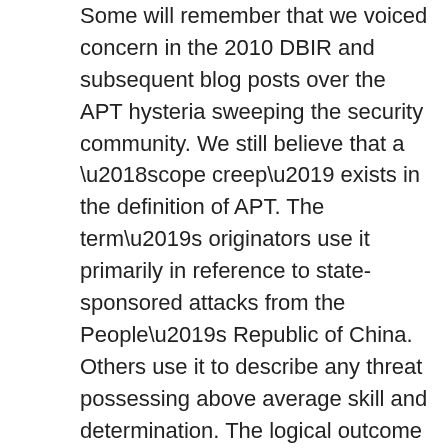Some will remember that we voiced concern in the 2010 DBIR and subsequent blog posts over the APT hysteria sweeping the security community. We still believe that a ‘scope creep’ exists in the definition of APT. The term’s originators use it primarily in reference to state-sponsored attacks from the People’s Republic of China. Others use it to describe any threat possessing above average skill and determination. The logical outcome of the former is to seriously assess and seriously address security posture within government agencies and the defense industrial base (which is right and good). The logical outcome of the latter is to conclude that ‘everyone is a target’ of APT (which is an oxymoron and leads to irrational fears about the boogeyman while common thieves clean you out of house and home). It is simply not possible for everyone to be a target. It is undoubtedly true (based on